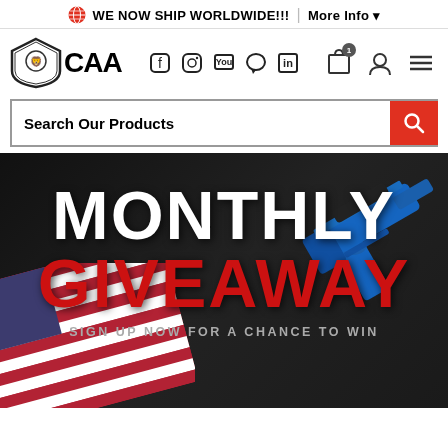🌐 WE NOW SHIP WORLDWIDE!!! | More Info ▾
[Figure (logo): CAA logo with lion shield and 'CAA' text, plus social media icons (Facebook, Instagram, YouTube, chat, LinkedIn)]
Search Our Products
[Figure (photo): Dark banner with American flag at lower left and blue firearm at right. Large text: MONTHLY GIVEAWAY. Subtext: SIGN UP NOW FOR A CHANCE TO WIN]